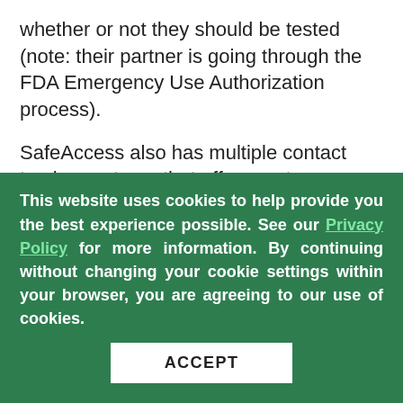whether or not they should be tested (note: their partner is going through the FDA Emergency Use Authorization process).
SafeAccess also has multiple contact tracing partners that offer great contingency (risk prevention) tools to provide protection against any infectious disease outbreaks. They also have partners that offer data analytics that keep track of people in an event and partners who can deploy emergency communications tools on demand.
These options can be customized based on so...
This website uses cookies to help provide you the best experience possible. See our Privacy Policy for more information. By continuing without changing your cookie settings within your browser, you are agreeing to our use of cookies.
ACCEPT